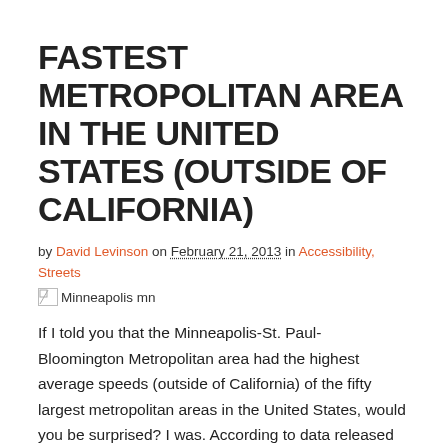FASTEST METROPOLITAN AREA IN THE UNITED STATES (OUTSIDE OF CALIFORNIA)
by David Levinson on February 21, 2013 in Accessibility, Streets
[Figure (other): Broken image placeholder with alt text 'Minneapolis mn']
If I told you that the Minneapolis-St. Paul- Bloomington Metropolitan area had the highest average speeds (outside of California) of the fifty largest metropolitan areas in the United States, would you be surprised? I was. According to data released with the 2012 Texas A&M's